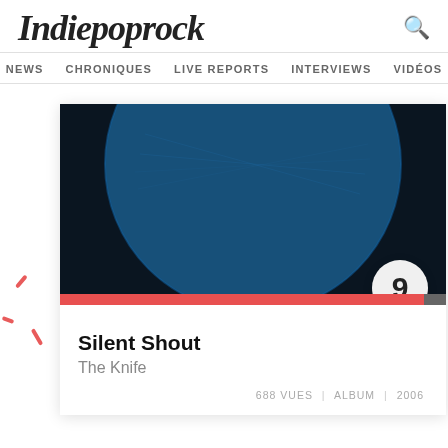Indiepoprock
NEWS  CHRONIQUES  LIVE REPORTS  INTERVIEWS  VIDÉOS
[Figure (photo): Album cover for Silent Shout by The Knife — dark navy background with a large blue circle/disc shape resembling a vinyl record]
9
Silent Shout
The Knife
688 VUES | ALBUM | 2006